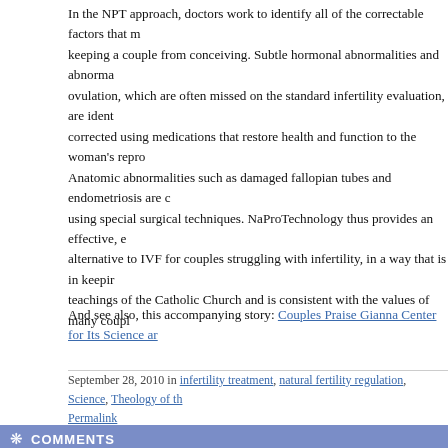In the NPT approach, doctors work to identify all of the correctable factors that may be keeping a couple from conceiving. Subtle hormonal abnormalities and abnormal ovulation, which are often missed on the standard infertility evaluation, are identified and corrected using medications that restore health and function to the woman's reproductive system. Anatomic abnormalities such as damaged fallopian tubes and endometriosis are corrected using special surgical techniques. NaProTechnology thus provides an effective, ethical alternative to IVF for couples struggling with infertility, in a way that is in keeping with the teachings of the Catholic Church and is consistent with the values of many couples.
And see also, this accompanying story: Couples Praise Gianna Center for Its Science an...
September 28, 2010 in infertility treatment, natural fertility regulation, Science, Theology of th... | Permalink
COMMENTS
POST A COMMENT
Comment below or sign in with Typepad Facebook Twitter and more...